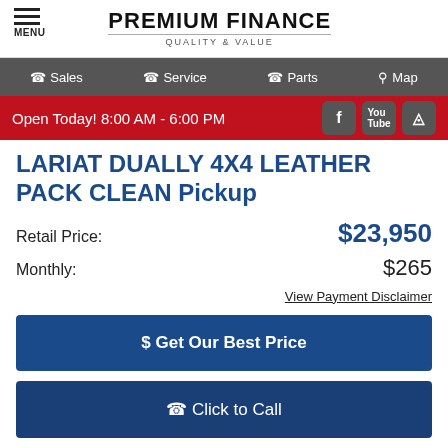MENU | PREMIUM FINANCE QUALITY & VALUE
Sales  Service  Parts  Map
Open Today! 8:00 AM - 6:00 PM
LARIAT DUALLY 4X4 LEATHER PACK CLEAN Pickup
Retail Price: $23,950
Monthly: $265
View Payment Disclaimer
$ Get Our Best Price
Click to Call
[Figure (screenshot): CarStory badge showing 'This vehicle has a FAIR PRICE']